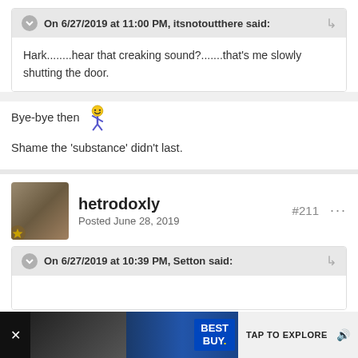On 6/27/2019 at 11:00 PM, itsnotoutthere said:
Hark........hear that creaking sound?.......that's me slowly shutting the door.
Bye-bye then 🕺
Shame the 'substance' didn't last.
hetrodoxly
Posted June 28, 2019
#211
On 6/27/2019 at 10:39 PM, Setton said: